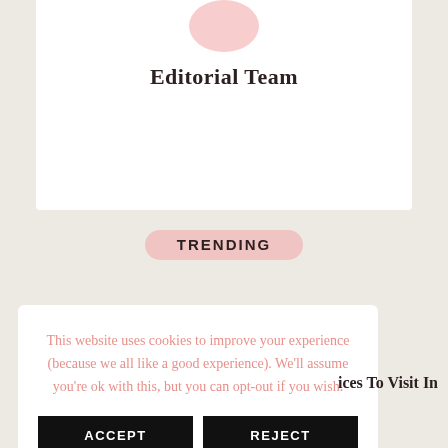[Figure (illustration): Pink oval/circle shape partially visible at top of white card, representing an avatar or profile image placeholder]
Editorial Team
TRENDING
This website uses cookies to improve your experience (because we all like a good experience). We'll assume you're ok with this, but you can opt-out if you wish.
ACCEPT
REJECT
ices To Visit In